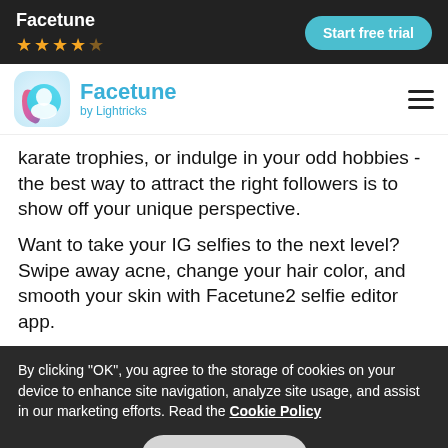Facetune ★★★★☆  Start free trial
[Figure (logo): Facetune by Lightricks app logo — circular icon with pink/blue gradient face silhouette]
karate trophies, or indulge in your odd hobbies - the best way to attract the right followers is to show off your unique perspective.
Want to take your IG selfies to the next level? Swipe away acne, change your hair color, and smooth your skin with Facetune2 selfie editor app.
By clicking "OK", you agree to the storage of cookies on your device to enhance site navigation, analyze site usage, and assist in our marketing efforts. Read the Cookie Policy
OK